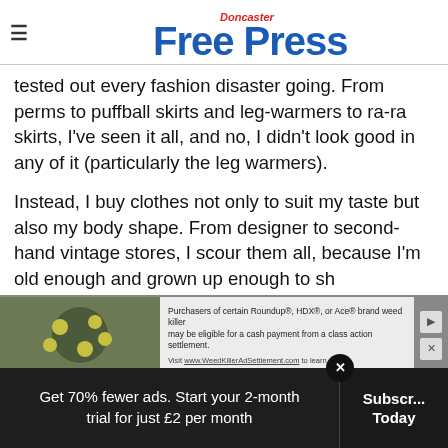Doncaster Free Press
tested out every fashion disaster going. From perms to puffball skirts and leg-warmers to ra-ra skirts, I've seen it all, and no, I didn't look good in any of it (particularly the leg warmers).
Instead, I buy clothes not only to suit my taste but also my body shape. From designer to second-hand vintage stores, I scour them all, because I'm old enough and grown up enough to sh...
[Figure (other): Advertisement overlay: Roundup/HDX/Ace brand weed killer class action settlement ad with flower image]
Get 70% fewer ads. Start your 2-month trial for just £2 per month
Subscribe Today